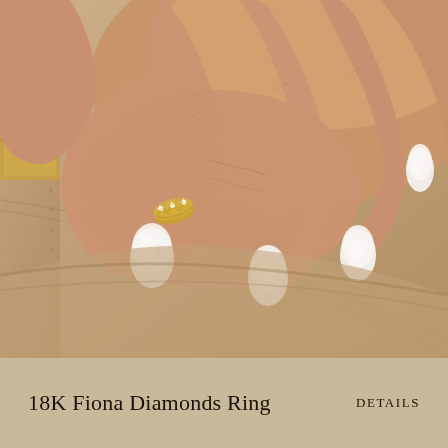[Figure (photo): Close-up photograph of a woman's hand with long white almond-shaped nails resting on a tan leather bag. She is wearing a gold diamond ring with a zigzag or chevron pattern on her index finger.]
18K Fiona Diamonds Ring
DETAILS